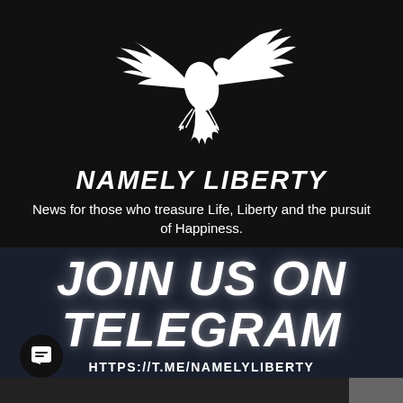[Figure (logo): White silhouette of an eagle with wings spread, diving downward, on black background]
NAMELY LIBERTY
News for those who treasure Life, Liberty and the pursuit of Happiness.
JOIN US ON TELEGRAM
HTTPS://T.ME/NAMELYLIBERTY